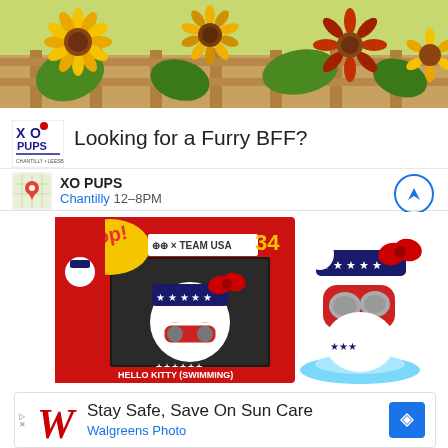[Figure (photo): Sunflowers and foliage photo strip at top of page, appears to be part of XO PUPS advertisement]
[Figure (infographic): XO PUPS advertisement with logo, title 'Looking for a Furry BFF?', location info showing 'XO PUPS Chantilly 12-8PM' with map icon and navigation button]
[Figure (photo): Hello Kitty x Team USA Funko Pop #34 Swimming figure, showing both the box packaging on the left and the figure itself on the right. Hello Kitty is wearing a stars-and-stripes headband, red bow, and red swimming goggles, posed on a blue wave base.]
[Figure (infographic): Walgreens Photo advertisement reading 'Stay Safe, Save On Sun Care' with Walgreens cursive W logo and navigation arrow button]